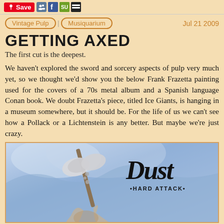Save [social icons]
Vintage Pulp | Musiquarium   Jul 21 2009
GETTING AXED
The first cut is the deepest.
We haven't explored the sword and sorcery aspects of pulp very much yet, so we thought we'd show you the below Frank Frazetta painting used for the covers of a 70s metal album and a Spanish language Conan book. We doubt Frazetta's piece, titled Ice Giants, is hanging in a museum somewhere, but it should be. For the life of us we can't see how a Pollack or a Lichtenstein is any better. But maybe we're just crazy.
[Figure (photo): Album cover for Dust - Hard Attack, showing a Frank Frazetta painting (Ice Giants) with a battle axe in a blue icy scene, with gothic-style 'Dust' text and '•HARD ATTACK•' subtitle.]